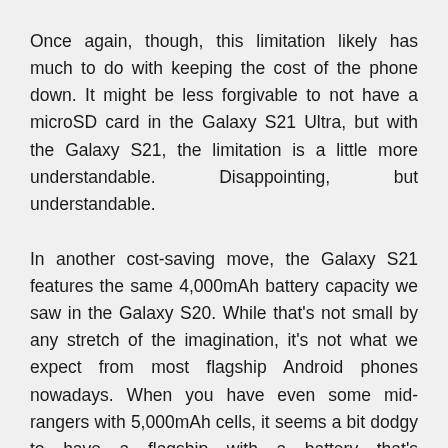Once again, though, this limitation likely has much to do with keeping the cost of the phone down. It might be less forgivable to not have a microSD card in the Galaxy S21 Ultra, but with the Galaxy S21, the limitation is a little more understandable. Disappointing, but understandable.
In another cost-saving move, the Galaxy S21 features the same 4,000mAh battery capacity we saw in the Galaxy S20. While that's not small by any stretch of the imagination, it's not what we expect from most flagship Android phones nowadays. When you have even some mid-rangers with 5,000mAh cells, it seems a bit dodgy to have a flagship with a battery that's 20{0ab330907ab55d1d247a5e46cbfc213f668b37838ccb2fc637c3c0da5f4ad964} smaller.